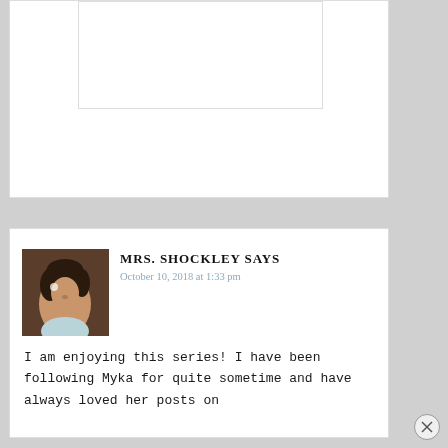[Figure (photo): Partial view of a previous comment card, mostly empty white space with a bordered image area at top left]
[Figure (photo): Profile photo of Mrs. Shockley - a woman with dark curly hair with a flower accessory, wearing light colored top, facing slightly right]
MRS. SHOCKLEY SAYS
October 10, 2018 at 1:33 pm
I am enjoying this series! I have been following Myka for quite sometime and have always loved her posts on